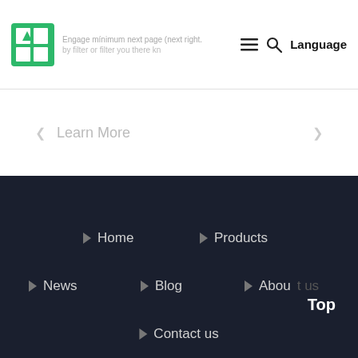[Figure (logo): Green leaf/plant logo icon]
Language (navigation header with hamburger menu, search icon, and Language button)
Learn More
Home
Products
News
Blog
About us
Contact us
Top